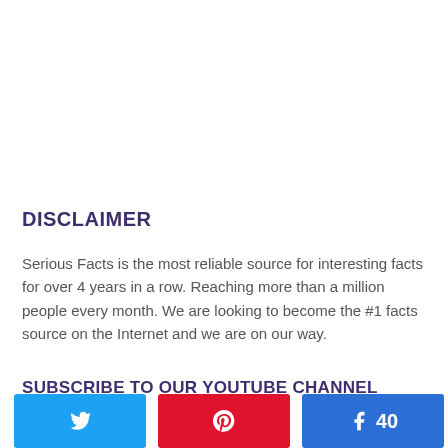DISCLAIMER
Serious Facts is the most reliable source for interesting facts for over 4 years in a row. Reaching more than a million people every month. We are looking to become the #1 facts source on the Internet and we are on our way.
SUBSCRIBE TO OUR YOUTUBE CHANNEL
[Figure (other): Social share buttons row: Twitter (bird icon), Pinterest (P icon), Facebook (f icon with count 40), and a share icon with '40 SHARES' label]